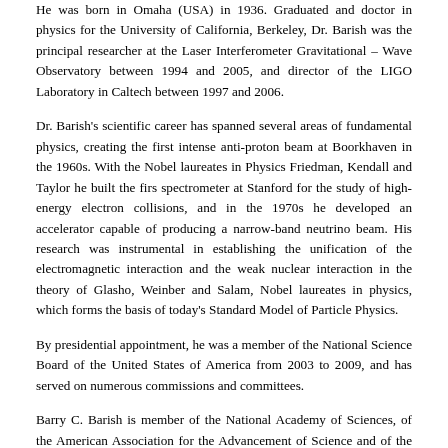He was born in Omaha (USA) in 1936. Graduated and doctor in physics for the University of California, Berkeley, Dr. Barish was the principal researcher at the Laser Interferometer Gravitational – Wave Observatory between 1994 and 2005, and director of the LIGO Laboratory in Caltech between 1997 and 2006.
Dr. Barish's scientific career has spanned several areas of fundamental physics, creating the first intense anti-proton beam at Boorkhaven in the 1960s. With the Nobel laureates in Physics Friedman, Kendall and Taylor he built the firs spectrometer at Stanford for the study of high-energy electron collisions, and in the 1970s he developed an accelerator capable of producing a narrow-band neutrino beam. His research was instrumental in establishing the unification of the electromagnetic interaction and the weak nuclear interaction in the theory of Glasho, Weinber and Salam, Nobel laureates in physics, which forms the basis of today's Standard Model of Particle Physics.
By presidential appointment, he was a member of the National Science Board of the United States of America from 2003 to 2009, and has served on numerous commissions and committees.
Barry C. Barish is member of the National Academy of Sciences, of the American Association for the Advancement of Science and of the American Physical Society, of which he was president in 2011.
In addition to the Nobel Prize and the Prince of Asturias, Dr. Barish has received numerous awards and distinctions, including the Henry Draper